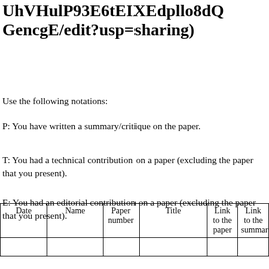UhVHulP93E6tEIXEdpllo8dQGencgE/edit?usp=sharing)
Use the following notations:
P: You have written a summary/critique on the paper.
T: You had a technical contribution on a paper (excluding the paper that you present).
E: You had an editorial contribution on a paper (excluding the paper that you present).
| Date | Name | Paper number | Title | Link to the paper | Link to the summar |
| --- | --- | --- | --- | --- | --- |
|  |  |  |  |  |  |